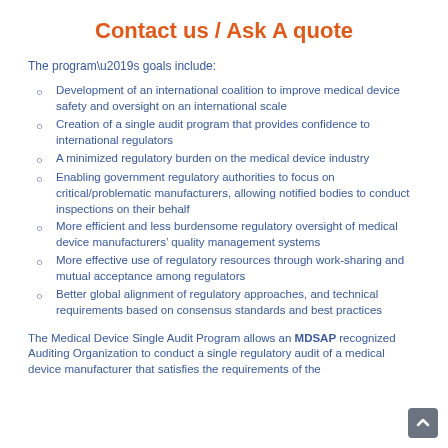Contact us / Ask A quote
The program’s goals include:
Development of an international coalition to improve medical device safety and oversight on an international scale
Creation of a single audit program that provides confidence to international regulators
A minimized regulatory burden on the medical device industry
Enabling government regulatory authorities to focus on critical/problematic manufacturers, allowing notified bodies to conduct inspections on their behalf
More efficient and less burdensome regulatory oversight of medical device manufacturers’ quality management systems
More effective use of regulatory resources through work-sharing and mutual acceptance among regulators
Better global alignment of regulatory approaches, and technical requirements based on consensus standards and best practices
The Medical Device Single Audit Program allows an MDSAP recognized Auditing Organization to conduct a single regulatory audit of a medical device manufacturer that satisfies the requirements of the...